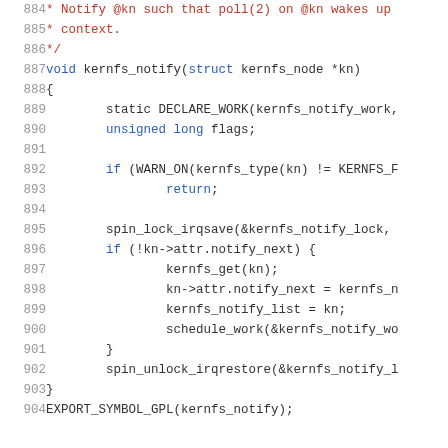[Figure (screenshot): Source code listing showing lines 884-904 of a C kernel source file (kernfs_notify function). Lines are syntax-highlighted: line numbers in gray, keywords in blue, comments/strings in red, code in dark/black.]